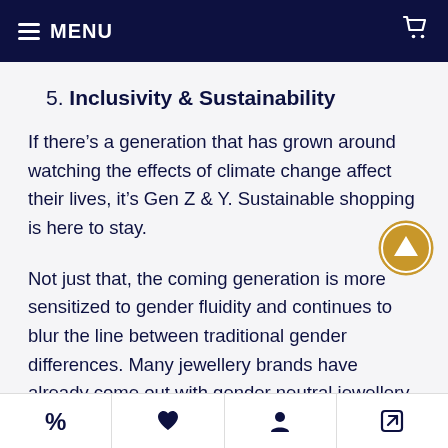MENU
5. Inclusivity & Sustainability
If there’s a generation that has grown around watching the effects of climate change affect their lives, it’s Gen Z & Y. Sustainable shopping is here to stay.
Not just that, the coming generation is more sensitized to gender fluidity and continues to blur the line between traditional gender differences. Many jewellery brands have already come out with gender neutral jewellery, a trait that not only allows them a broader buyer marketplace but sends a stronger message of inclusivity. Believe it or not,
% ♥ • ↗